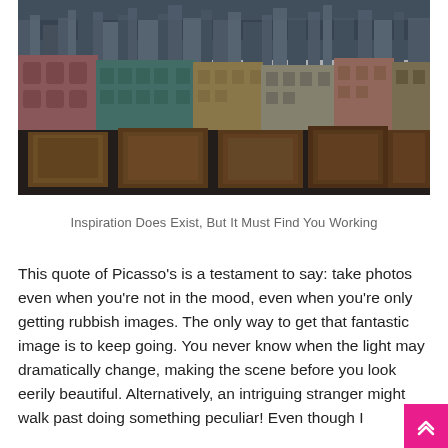[Figure (photo): Aerial/rooftop view of Havana, Cuba cityscape showing colorful buildings — pink, teal, yellow — with deteriorating rooftops in the foreground and dense urban skyline in the background. Dark, moody atmospheric photography.]
Inspiration Does Exist, But It Must Find You Working
This quote of Picasso's is a testament to say: take photos even when you're not in the mood, even when you're only getting rubbish images. The only way to get that fantastic image is to keep going. You never know when the light may dramatically change, making the scene before you look eerily beautiful. Alternatively, an intriguing stranger might walk past doing something peculiar! Even though I